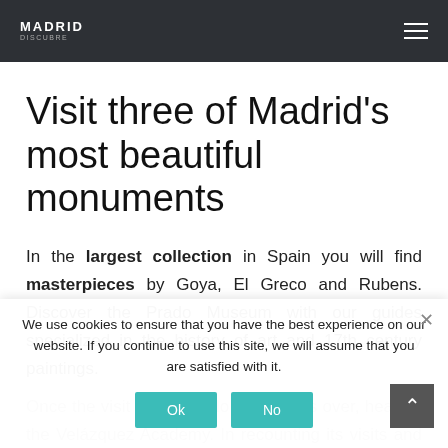MADRID
Visit three of Madrid's most beautiful monuments
In the largest collection in Spain you will find masterpieces by Goya, El Greco and Rubens. Discover the Prado Museum with our guides specialized in the history of art and 17th century paintings.
Once the visit to the Prado Museum is over, head to the Velázquez Academy. In recounting its visits and associated on the kings of Spain and discover the important role of Velázquez in the Spanish monarchy. Discover the royal
We use cookies to ensure that you have the best experience on our website. If you continue to use this site, we will assume that you are satisfied with it.